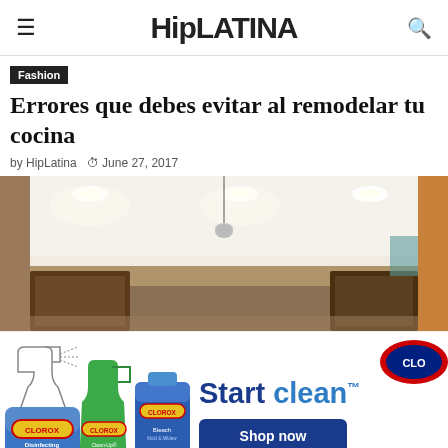HipLATINA
Fashion
Errores que debes evitar al remodelar tu cocina
by HipLatina  June 27, 2017
[Figure (photo): Interior kitchen photo showing ceiling with recessed lighting and pendant light, warm wood cabinets visible at sides]
[Figure (photo): Clorox advertisement showing Disinfecting Wipes, Clean-Up Cleaner + Bleach, and Bleach products with line drawing illustrations. Text: Start clean. Shop now. Clorox logo. Fine print: When used as directed on hard, non-porous surface]